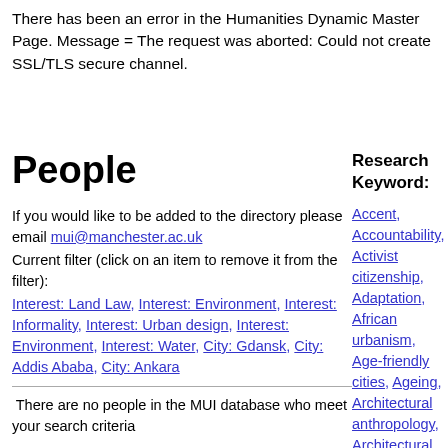There has been an error in the Humanities Dynamic Master Page. Message = The request was aborted: Could not create SSL/TLS secure channel.
People
Research Keyword:
If you would like to be added to the directory please email mui@manchester.ac.uk
Current filter (click on an item to remove it from the filter):
Interest: Land Law, Interest: Environment, Interest: Informality, Interest: Urban design, Interest: Environment, Interest: Water, City: Gdansk, City: Addis Ababa, City: Ankara
There are no people in the MUI database who meet your search criteria
Accent, Accountability, Activist citizenship, Adaptation, African urbanism, Age-friendly cities, Ageing, Architectural anthropology, Architectural drawing, Architectural ethnography, Architecture, Art, Aspiration, Atmosphere, Austerity,